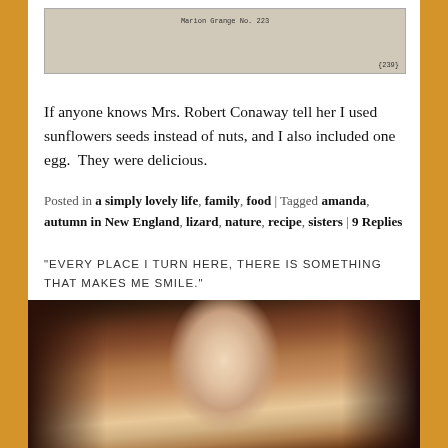[Figure (photo): Scanned document image showing text 'Marion Grange No. 223' and page number {239} at bottom right]
If anyone knows Mrs. Robert Conaway tell her I used sunflowers seeds instead of nuts, and I also included one egg.  They were delicious.
Posted in a simply lovely life, family, food | Tagged amanda, autumn in New England, lizard, nature, recipe, sisters | 9 Replies
"EVERY PLACE I TURN HERE, THERE IS SOMETHING THAT MAKES ME SMILE."
[Figure (photo): Close-up selfie photo of a woman with brown/auburn hair and green eyes looking at the camera]